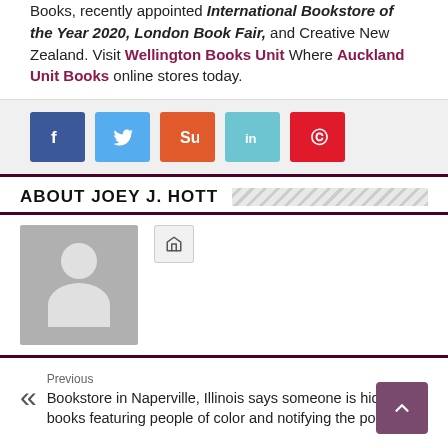Books, recently appointed International Bookstore of the Year 2020, London Book Fair, and Creative New Zealand. Visit Wellington Books Unit Where Auckland Unit Books online stores today.
[Figure (infographic): Social media share buttons: Facebook (blue), Twitter (light blue), StumbleUpon (orange), LinkedIn (teal), Pinterest (red)]
ABOUT JOEY J. HOTT
[Figure (photo): Generic grey avatar/profile placeholder image with silhouette of person (head and shoulders), next to a small home icon button]
Previous
Bookstore in Naperville, Illinois says someone is hiding its books featuring people of color and notifying the police